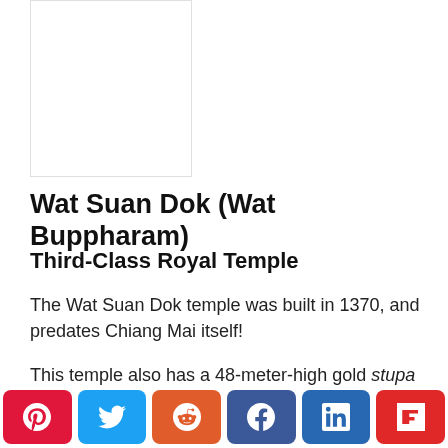[Figure (photo): Photo placeholder - image of Wat Suan Dok temple]
Wat Suan Dok (Wat Buppharam)
Third-Class Royal Temple
The Wat Suan Dok temple was built in 1370, and predates Chiang Mai itself!
This temple also has a 48-meter-high gold stupa (bigger than Wat Phra That) and lavish prayer hall. What I found the most interesting were the beautiful white mausoleums containing the remains of the
[Figure (other): Social media sharing buttons: Pinterest, Twitter, Reddit, Facebook, LinkedIn, Flipboard]